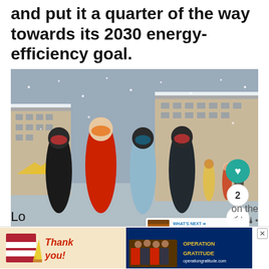and put it a quarter of the way towards its 2030 energy-efficiency goal.
[Figure (photo): Four people in ski gear posing together at a snowy ski resort. They are wearing goggles, helmets, and winter jackets. Snowy buildings and other skiers visible in background. Social media UI overlays visible including heart icon, share icon, and 'WHAT'S NEXT: The Miami Cannibal:...' preview panel.]
Lo
[Figure (photo): Advertisement banner with two panels: left panel shows 'Thank you!' text with patriotic imagery, right panel shows 'OPERATION GRATITUDE' text with military personnel photo.]